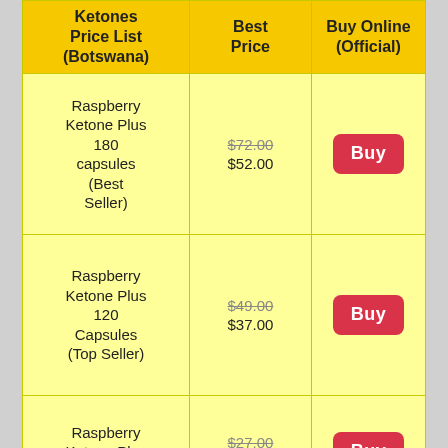| Ketones Price List (Botswana) | Best Price | Buy Online (Official) |
| --- | --- | --- |
| Raspberry Ketone Plus 180 capsules (Best Seller) | $72.00 / $52.00 | Buy |
| Raspberry Ketone Plus 120 Capsules (Top Seller) | $49.00 / $37.00 | Buy |
| Raspberry Ketone Plus 60 Capsules | $27.00 / $20.00 | Buy |